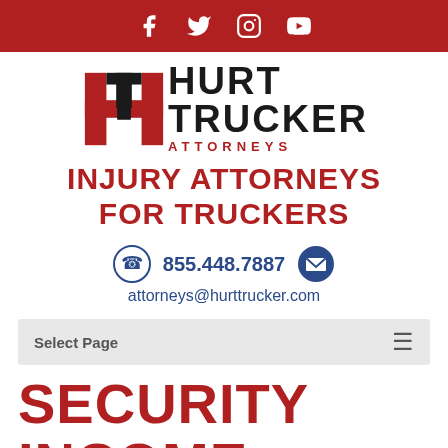Social media icons: Facebook, Twitter, Instagram, YouTube
[Figure (logo): Hurt Trucker Attorneys logo with stylized H emblem in red and black]
INJURY ATTORNEYS FOR TRUCKERS
855.448.7887  attorneys@hurttrucker.com
Select Page
SECURITY INCOME PROVIDES